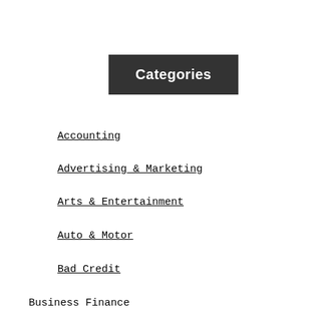Categories
Accounting
Advertising & Marketing
Arts & Entertainment
Auto & Motor
Bad Credit
Business Finance